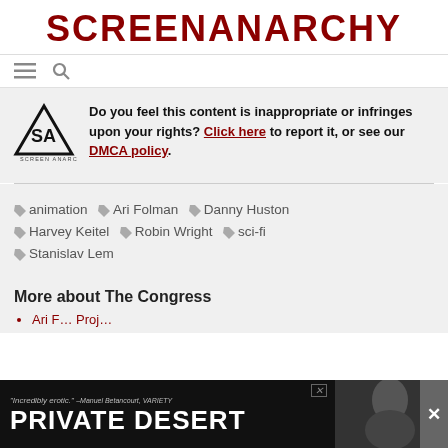SCREENANARCHY
[Figure (logo): SA Screen Anarchy logo with hamburger menu and search icons]
Do you feel this content is inappropriate or infringes upon your rights? Click here to report it, or see our DMCA policy.
animation
Ari Folman
Danny Huston
Harvey Keitel
Robin Wright
sci-fi
Stanislav Lem
More about The Congress
Ari Folman... Proj...
[Figure (screenshot): Ad banner: 'Incredibly erotic.' -Manuel Betancourt, VARIETY. PRIVATE DESERT with photo of woman]